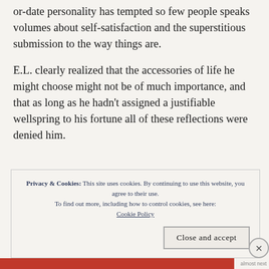or-date personality has tempted so few people speaks volumes about self-satisfaction and the superstitious submission to the way things are.
E.L. clearly realized that the accessories of life he might choose might not be of much importance, and that as long as he hadn't assigned a justifiable wellspring to his fortune all of these reflections were denied him.
Privacy & Cookies: This site uses cookies. By continuing to use this website, you agree to their use. To find out more, including how to control cookies, see here: Cookie Policy
Close and accept